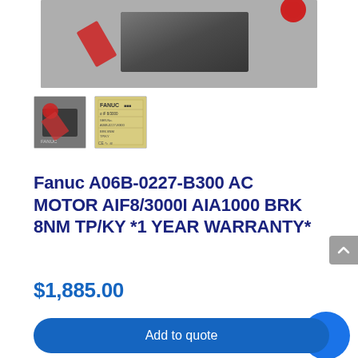[Figure (photo): Main product photo of Fanuc AC Motor component, grey background with red circle visible]
[Figure (photo): Thumbnail 1: Close-up of Fanuc motor component with red tag]
[Figure (photo): Thumbnail 2: Fanuc product label/dataplate on yellow card]
Fanuc A06B-0227-B300 AC MOTOR AIF8/3000I AIA1000 BRK 8NM TP/KY *1 YEAR WARRANTY*
$1,885.00
Add to quote